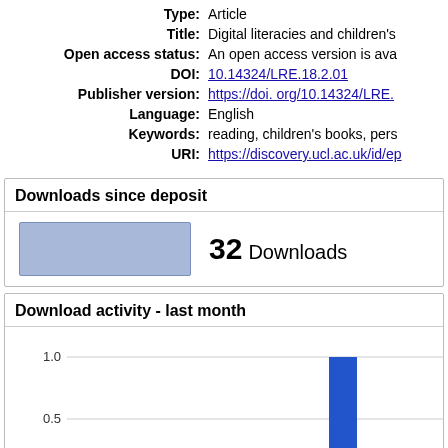Type: Article
Title: Digital literacies and children's
Open access status: An open access version is ava
DOI: 10.14324/LRE.18.2.01
Publisher version: https://doi.org/10.14324/LRE.
Language: English
Keywords: reading, children's books, pers
URI: https://discovery.ucl.ac.uk/id/ep
Downloads since deposit
32 Downloads
Download activity - last month
[Figure (bar-chart): Download activity - last month]